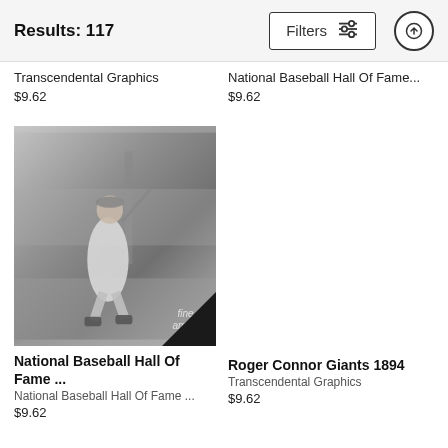Results: 117
Transcendental Graphics
$9.62
National Baseball Hall Of Fame...
$9.62
[Figure (photo): Black and white photograph of a baseball player labeled SPEAKER, Jl 24.5, standing on a baseball field holding a bat, with a stadium backdrop. Watermark reads fine art america.]
National Baseball Hall Of Fame ...
National Baseball Hall Of Fame ...
$9.62
Roger Connor Giants 1894
Transcendental Graphics
$9.62